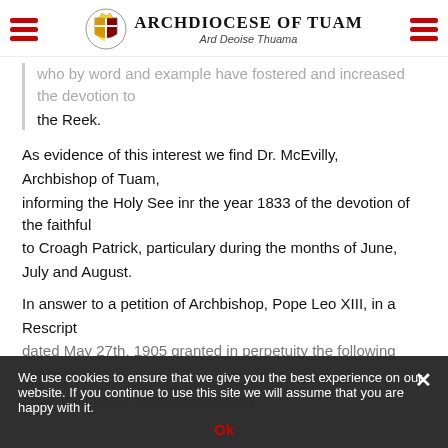Archdiocese of Tuam | Ard Deoise Thuama
who by word and example have fostered and increased the devotion to the Reek.
As evidence of this interest we find Dr. McEvilly, Archbishop of Tuam, informing the Holy See inr the year 1833 of the devotion of the faithful to Croagh Patrick, particulary during the months of June, July and August.
In answer to a petition of Archbishop, Pope Leo XIII, in a Rescript dated May 27th, 1905 granted in perpetuity the following indulgences applicable to the souls in Purgatory:
We use cookies to ensure that we give you the best experience on our website. If you continue to use this site we will assume that you are happy with it. Ok